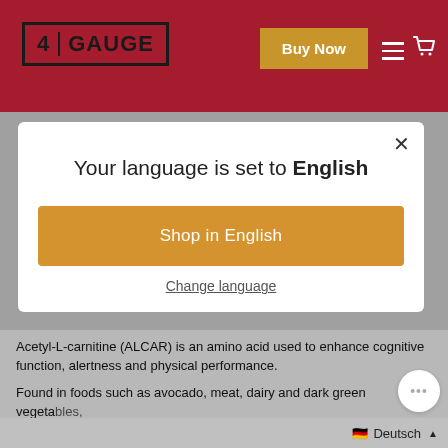4 GAUGE | Buy Now
[Figure (screenshot): Language selection modal overlay on a product website (4 Gauge). Modal shows 'Your language is set to English' with a 'Shop in English' button and 'Change language' link. Background shows a website header with dark red/crimson background, logo, Buy Now button, and a partially visible green plant image.]
Acetyl-L-carnitine (ALCAR) is an amino acid used to enhance cognitive function, alertness and physical performance.
Found in foods such as avocado, meat, dairy and dark green vegetables, ALCAR can pass though the blood-brain barrier, exerting its ef
Deutsch